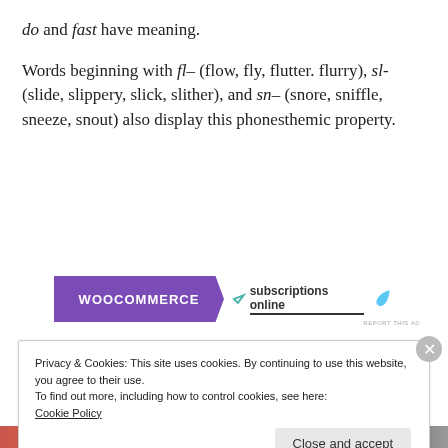do and fast have meaning.
Words beginning with fl– (flow, fly, flutter. flurry), sl- (slide, slippery, slick, slither), and sn– (snore, sniffle, sneeze, snout) also display this phonesthemic property.
[Figure (other): WooCommerce advertisement banner — subscriptions online]
Privacy & Cookies: This site uses cookies. By continuing to use this website, you agree to their use.
To find out more, including how to control cookies, see here:
Cookie Policy
Close and accept